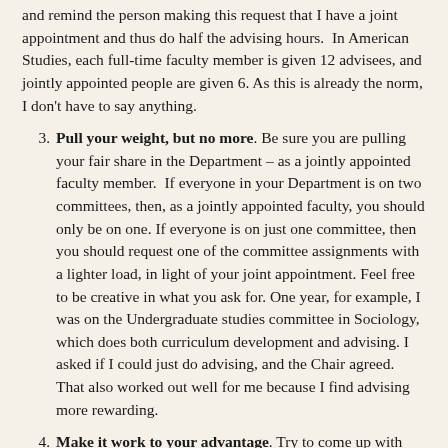and remind the person making this request that I have a joint appointment and thus do half the advising hours.  In American Studies, each full-time faculty member is given 12 advisees, and jointly appointed people are given 6. As this is already the norm, I don't have to say anything.
3. Pull your weight, but no more. Be sure you are pulling your fair share in the Department – as a jointly appointed faculty member.  If everyone in your Department is on two committees, then, as a jointly appointed faculty, you should only be on one. If everyone is on just one committee, then you should request one of the committee assignments with a lighter load, in light of your joint appointment. Feel free to be creative in what you ask for. One year, for example, I was on the Undergraduate studies committee in Sociology, which does both curriculum development and advising. I asked if I could just do advising, and the Chair agreed. That also worked out well for me because I find advising more rewarding.
4. Make it work to your advantage. Try to come up with ways that the joint appointment can work to your advantage. Here are three examples of ways I have done that: